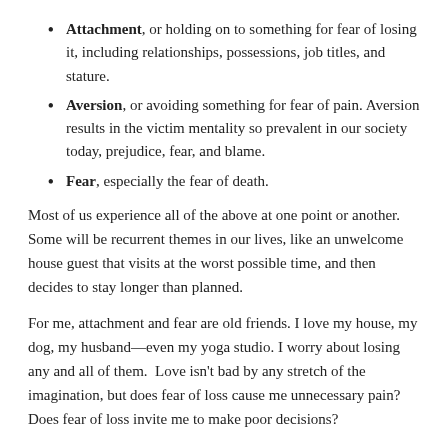Attachment, or holding on to something for fear of losing it, including relationships, possessions, job titles, and stature.
Aversion, or avoiding something for fear of pain. Aversion results in the victim mentality so prevalent in our society today, prejudice, fear, and blame.
Fear, especially the fear of death.
Most of us experience all of the above at one point or another. Some will be recurrent themes in our lives, like an unwelcome house guest that visits at the worst possible time, and then decides to stay longer than planned.
For me, attachment and fear are old friends. I love my house, my dog, my husband—even my yoga studio. I worry about losing any and all of them.  Love isn't bad by any stretch of the imagination, but does fear of loss cause me unnecessary pain? Does fear of loss invite me to make poor decisions?